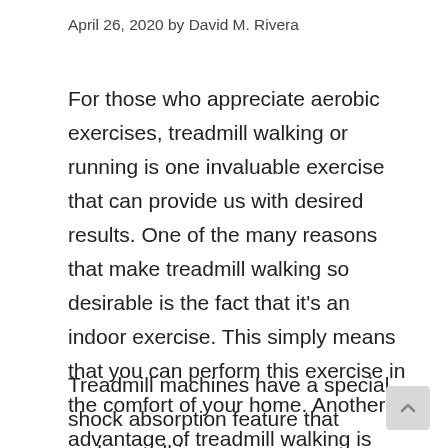April 26, 2020 by David M. Rivera
For those who appreciate aerobic exercises, treadmill walking or running is one invaluable exercise that can provide us with desired results. One of the many reasons that make treadmill walking so desirable is the fact that it's an indoor exercise. This simply means that you can perform this exercise in the comfort of your home. Another advantage of treadmill walking is that it provides a gentle touch on your feet.
Treadmill machines have a special shock absorption feature that makes walking more